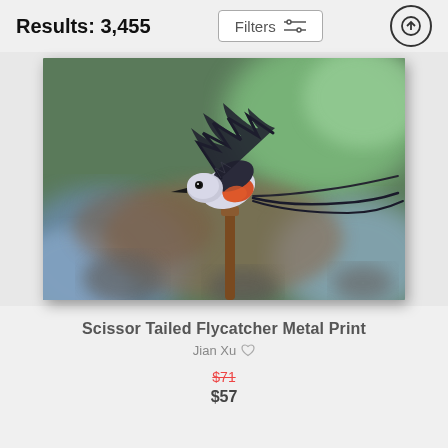Results: 3,455
[Figure (photo): A Scissor-tailed Flycatcher bird with spread wings and long tail feathers, perched on a branch, against a blurred green and blue bokeh background. The bird has a gray head, white underside, red/orange patch, and dark wings.]
Scissor Tailed Flycatcher Metal Print
Jian Xu ♡
$71
$57